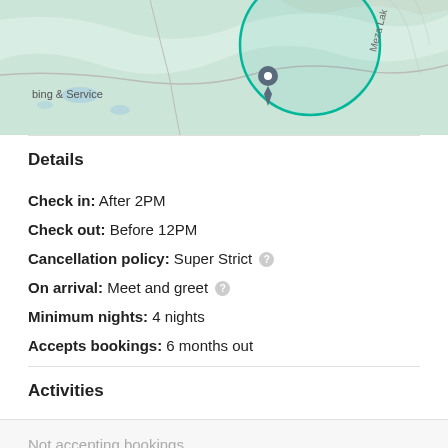[Figure (map): Topographic map showing terrain with a teal/green circular overlay, location pin marker, text reading 'bing & Service' and 'Meza Lak' (partially visible), with gray road/trail lines and blue water features.]
Details
Check in: After 2PM
Check out: Before 12PM
Cancellation policy: Super Strict
On arrival: Meet and greet
Minimum nights: 4 nights
Accepts bookings: 6 months out
Activities
Not accepting bookings
This camp is not accepting bookings right now.